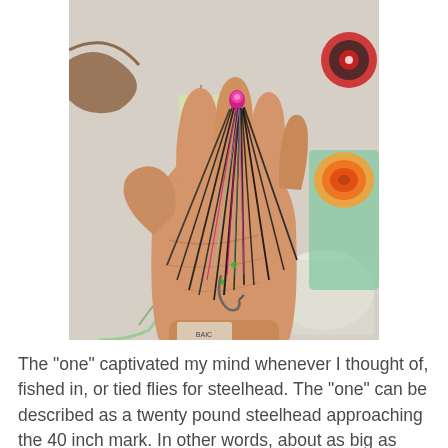[Figure (photo): A hand holding a large dark fishing fly (steelhead fly) with black and pink feathers/hair and a hook visible, displayed against a background with fishing gear including line spools and materials.]
The "one" captivated my mind whenever I thought of, fished in, or tied flies for steelhead. The "one" can be described as a twenty pound steelhead approaching the 40 inch mark. In other words, about as big as they get in the Great Lakes tributaries. A lucky few anglers catch these fish each year